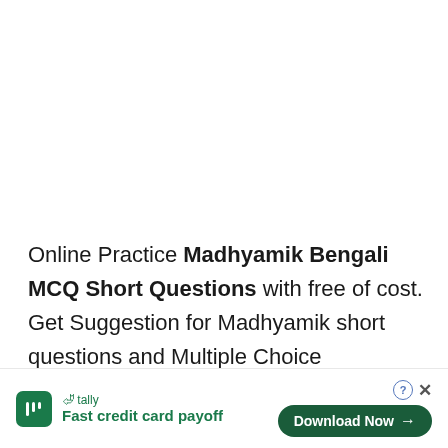Online Practice Madhyamik Bengali MCQ Short Questions with free of cost. Get Suggestion for Madhyamik short questions and Multiple Choice Questions. Download Madhyamik Bengali Suggestion and MCQ Short Questions. Online Mock Test fc                                                    questi                                                       amik
[Figure (other): Advertisement banner for Tally app showing 'Fast credit card payoff' with a green Download Now button and close controls]